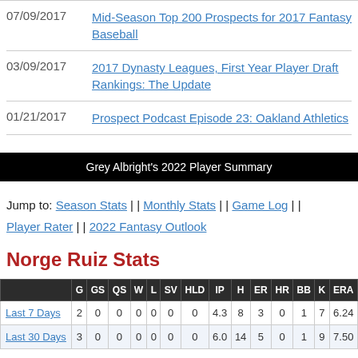07/09/2017 Mid-Season Top 200 Prospects for 2017 Fantasy Baseball
03/09/2017 2017 Dynasty Leagues, First Year Player Draft Rankings: The Update
01/21/2017 Prospect Podcast Episode 23: Oakland Athletics
Grey Albright's 2022 Player Summary
Jump to: Season Stats || Monthly Stats || Game Log || Player Rater || 2022 Fantasy Outlook
Norge Ruiz Stats
|  | G | GS | QS | W | L | SV | HLD | IP | H | ER | HR | BB | K | ERA |
| --- | --- | --- | --- | --- | --- | --- | --- | --- | --- | --- | --- | --- | --- | --- |
| Last 7 Days | 2 | 0 | 0 | 0 | 0 | 0 | 0 | 4.3 | 8 | 3 | 0 | 1 | 7 | 6.24 |
| Last 30 Days | 3 | 0 | 0 | 0 | 0 | 0 | 0 | 6.0 | 14 | 5 | 0 | 1 | 9 | 7.50 |